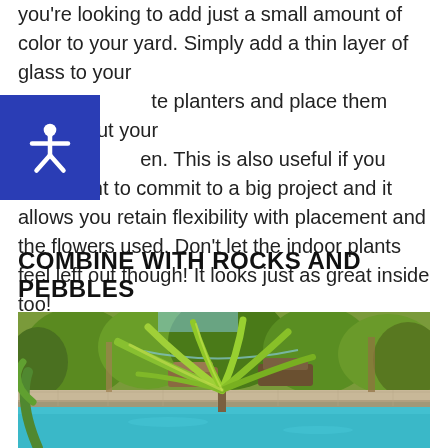you're looking to add just a small amount of color to your yard. Simply add a thin layer of glass to your te planters and place them throughout your en. This is also useful if you don't want to commit to a big project and it allows you retain flexibility with placement and the flowers used. Don't let the indoor plants feel left out though! It looks just as great inside too!
COMBINE WITH ROCKS AND PEBBLES
[Figure (photo): Outdoor pool area with tropical palm plant in foreground, lounge chairs and lush green trees in background, stone pool edge visible]